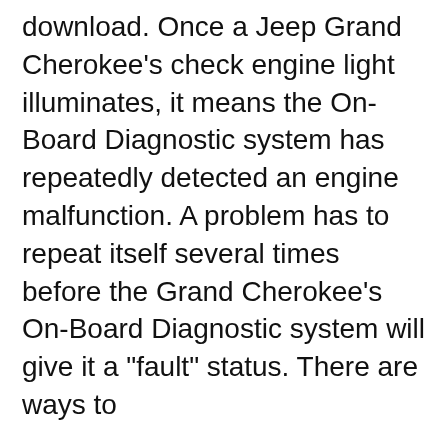download. Once a Jeep Grand Cherokee's check engine light illuminates, it means the On-Board Diagnostic system has repeatedly detected an engine malfunction. A problem has to repeat itself several times before the Grand Cherokee's On-Board Diagnostic system will give it a "fault" status. There are ways to
2009 Jeep Grand Cherokee Repair Manual Online. Looking for a 2009 Jeep Grand Cherokee repair manual? With Chilton's online Do-It-Yourself Jeep Grand Cherokee repair manuals, you can view any year's manual 24/7/365.. Our 2009 Jeep Grand Cherokee repair manuals include all the information you